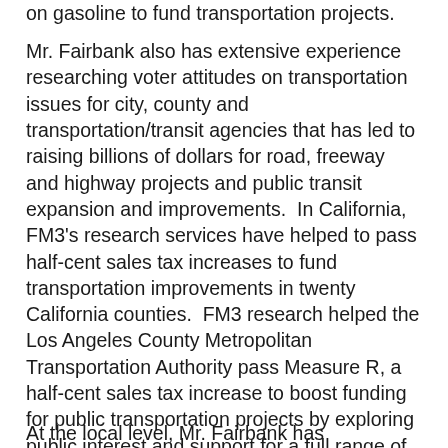on gasoline to fund transportation projects.
Mr. Fairbank also has extensive experience researching voter attitudes on transportation issues for city, county and transportation/transit agencies that has led to raising billions of dollars for road, freeway and highway projects and public transit expansion and improvements.  In California, FM3's research services have helped to pass half-cent sales tax increases to fund transportation improvements in twenty California counties.  FM3 research helped the Los Angeles County Metropolitan Transportation Authority pass Measure R, a half-cent sales tax increase to boost funding for public transportation projects by exploring public interest and support for a full range of transit projects, including a “subway to the sea”.  FM3 has conducted policy-oriented research for many regional transportation agencies, and in recent years has worked for MetroLink, the Ventura County Transportation Agency, the Orange County Transportation Authority (OCTA), the Bay Area Rapid Transit (BART) and the Southern California Association of Governments (SCAG).
At the local level, Mr. Fairbank has specialized in developing